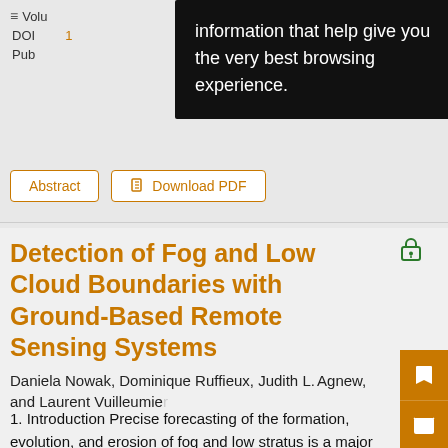Volu... DOI... Pub...
[Figure (screenshot): Browser tooltip overlay with text: information that help give you the very best browsing experience.]
Abstract   Download PDF
Detection of Fog and Low Cloud Boundaries with Ground-Based Remote Sensing Systems
Daniela Nowak, Dominique Ruffieux, Judith L. Agnew, and Laurent Vuilleumier
1. Introduction Precise forecasting of the formation, evolution, and erosion of fog and low stratus is a major challenge for meteorology,